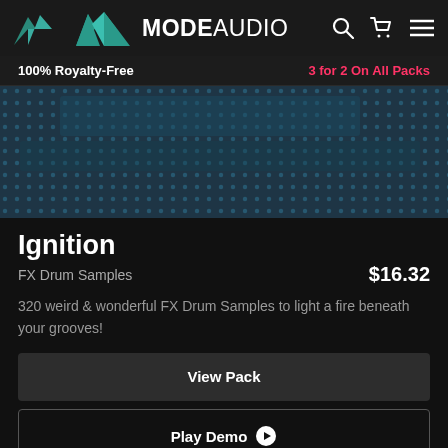MODE AUDIO
100% Royalty-Free   3 for 2 On All Packs
[Figure (photo): Dark blue dot-grid pattern background image for the Ignition FX Drum Samples pack]
Ignition
FX Drum Samples   $16.32
320 weird & wonderful FX Drum Samples to light a fire beneath your grooves!
View Pack
Play Demo
[Figure (photo): Teal/green abstract background image partially visible at bottom of page]